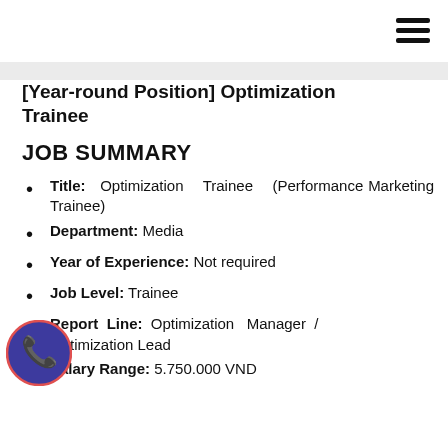[Figure (other): Hamburger menu icon (three horizontal lines) in the top-right corner]
[Year-round Position] Optimization Trainee
JOB SUMMARY
Title: Optimization Trainee (Performance Marketing Trainee)
Department: Media
Year of Experience: Not required
Job Level: Trainee
Report Line: Optimization Manager / Optimization Lead
Salary Range: 5.750.000 VND
[Figure (other): Phone/WhatsApp contact icon overlay (circular purple/blue icon with a phone handset) overlapping the Report Line bullet point]